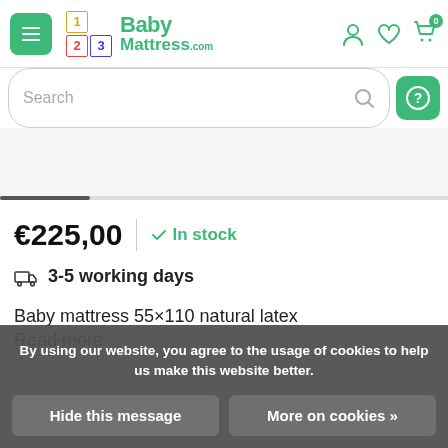[Figure (screenshot): 123 BabyMattress.com website header with hamburger menu, logo, user/wishlist/cart icons]
[Figure (screenshot): Search bar with magnifier icon and green help button]
€225,00
✓ In stock
3-5 working days
Baby mattress 55×110 natural latex
Read more
By using our website, you agree to the usage of cookies to help us make this website better.
Hide this message
More on cookies »